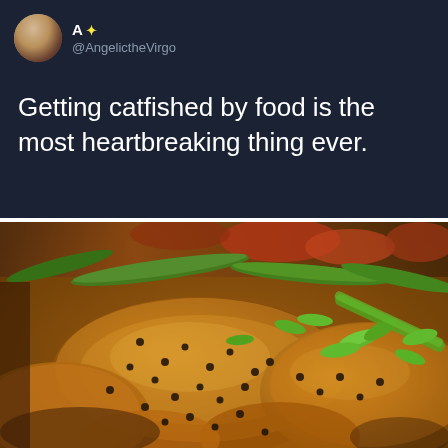[Figure (screenshot): Tweet screenshot with dark navy background showing user @AngelictheVirgo with avatar photo and tweet text]
A ✦ @AngelictheVirgo
Getting catfished by food is the most heartbreaking thing ever.
[Figure (photo): Close-up photo of a glazed Asian-style dish with green onions/scallions, sesame seeds, snap peas, and vegetables in a dark sauce]